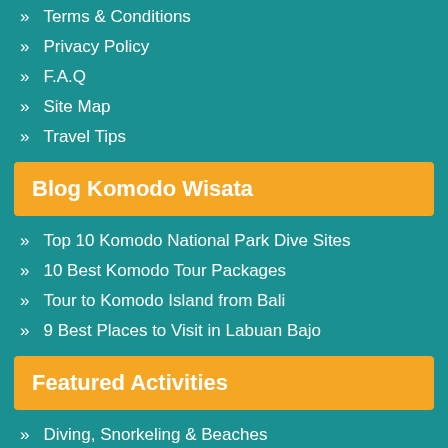Terms & Conditions
Privacy Policy
F.A.Q
Site Map
Travel Tips
Blog Komodo Wisata
Top 10 Komodo National Park Dive Sites
10 Best Komodo Tour Packages
Tour to Komodo Island from Bali
9 Best Places to Visit in Labuan Bajo
Featured Activities
Diving, Snorkeling & Beaches
Volcano Hiking
Spotting Komodo Dragon
Nature & Culture Tours
Sailing Boat Tour
Fishing Trip